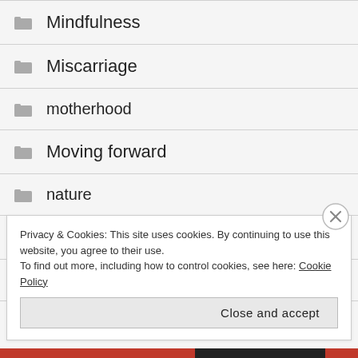Mindfulness
Miscarriage
motherhood
Moving forward
nature
Noticing
nurses
Privacy & Cookies: This site uses cookies. By continuing to use this website, you agree to their use. To find out more, including how to control cookies, see here: Cookie Policy
Close and accept